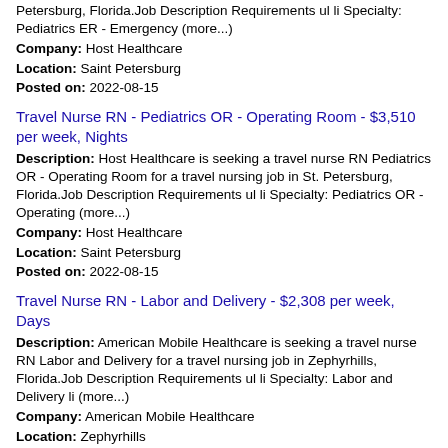Petersburg, Florida.Job Description Requirements ul li Specialty: Pediatrics ER - Emergency (more...)
Company: Host Healthcare
Location: Saint Petersburg
Posted on: 2022-08-15
Travel Nurse RN - Pediatrics OR - Operating Room - $3,510 per week, Nights
Description: Host Healthcare is seeking a travel nurse RN Pediatrics OR - Operating Room for a travel nursing job in St. Petersburg, Florida.Job Description Requirements ul li Specialty: Pediatrics OR - Operating (more...)
Company: Host Healthcare
Location: Saint Petersburg
Posted on: 2022-08-15
Travel Nurse RN - Labor and Delivery - $2,308 per week, Days
Description: American Mobile Healthcare is seeking a travel nurse RN Labor and Delivery for a travel nursing job in Zephyrhills, Florida.Job Description Requirements ul li Specialty: Labor and Delivery li (more...)
Company: American Mobile Healthcare
Location: Zephyrhills
Posted on: 2022-08-15
Travel Nurse RN - Progressive Care Unit - $1,755 per week,